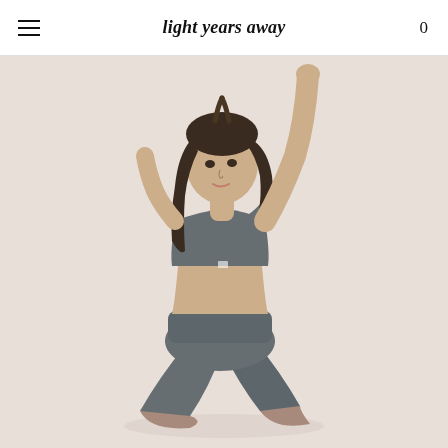light years away  0
[Figure (photo): A young woman with long dark hair wearing a grey athletic sports bra and grey leggings, kneeling on the floor with both arms raised above her head, photographed against a light beige/nude background. E-commerce product photo for activewear.]